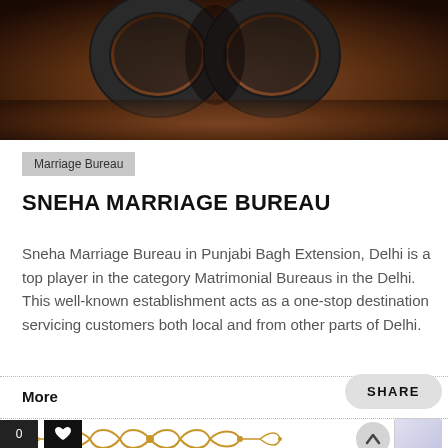[Figure (photo): Dark background photo showing wedding rings/bands with a warm brown and amber tone]
Marriage Bureau
SNEHA MARRIAGE BUREAU
Sneha Marriage Bureau in Punjabi Bagh Extension, Delhi is a top player in the category Matrimonial Bureaus in the Delhi. This well-known establishment acts as a one-stop destination servicing customers both local and from other parts of Delhi.
More
SHARE